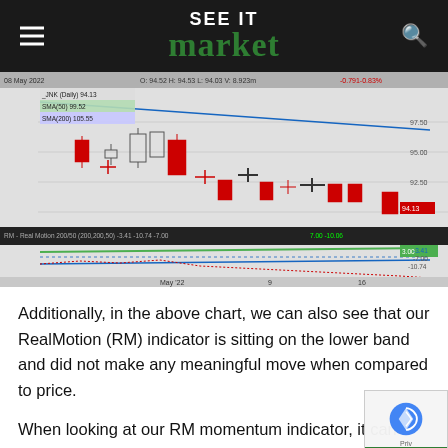SEE IT market
[Figure (continuous-plot): Candlestick chart of JNK (Daily) with SMA(50) and SMA(200) lines showing a downtrend in May 2022, with a RealMotion 200/50 indicator panel below showing negative momentum. Price labels: O: 94.52, H: 94.53, L: 94.03, V: 8.923m, -0.791 -0.83%. Current price 94.13 shown. Lower panel shows RM values: -3.41, -10.74, -7.00, -10.06.]
Additionally, in the above chart, we can also see that our RealMotion (RM) indicator is sitting on the lower band and did not make any meaningful move when compared to price.
When looking at our RM momentum indicator, it can h identify hidden momentum when compared to price.